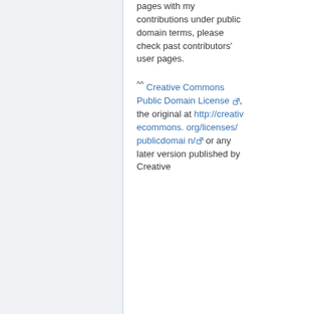pages with my contributions under public domain terms, please check past contributors' user pages.

^^ Creative Commons Public Domain License, the original at http://creativecommons.org/licenses/publicdomain/ or any later version published by Creative